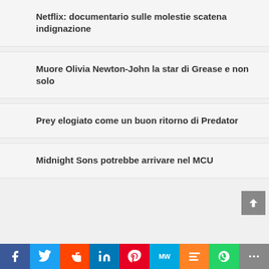Netflix: documentario sulle molestie scatena indignazione
Muore Olivia Newton-John la star di Grease e non solo
Prey elogiato come un buon ritorno di Predator
Midnight Sons potrebbe arrivare nel MCU
[Figure (infographic): Social sharing bar with icons: Facebook (blue), Twitter (blue), Reddit (orange-red), LinkedIn (blue), Pinterest (red), MixW (teal), Mix (orange), WhatsApp (green), More/share (grey)]